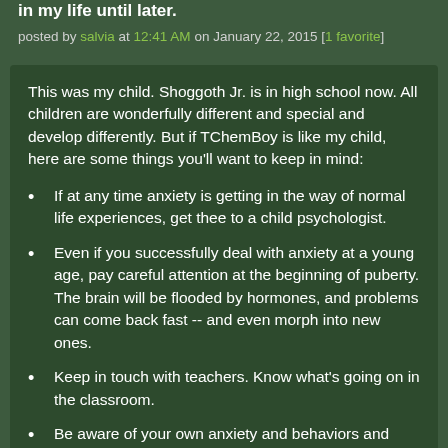in my life until later.
posted by salvia at 12:41 AM on January 22, 2015 [1 favorite]
This was my child. Shoggoth Jr. is in high school now. All children are wonderfully different and special and develop differently. But if TChemBoy is like my child, here are some things you'll want to keep in mind:
If at any time anxiety is getting in the way of normal life experiences, get thee to a child psychologist.
Even if you successfully deal with anxiety at a young age, pay careful attention at the beginning of puberty. The brain will be flooded by hormones, and problems can come back fast -- and even morph into new ones.
Keep in touch with teachers. Know what's going on in the classroom.
Be aware of your own anxiety and behaviors and